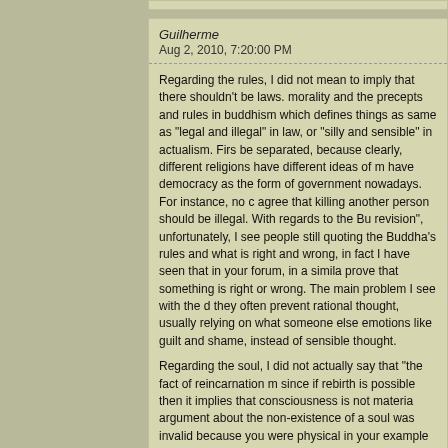Guilherme
Aug 2, 2010, 7:20:00 PM
Regarding the rules, I did not mean to imply that there shouldn't be laws. morality and the precepts and rules in buddhism which defines things as same as "legal and illegal" in law, or "silly and sensible" in actualism. First be separated, because clearly, different religions have different ideas of m have democracy as the form of government nowadays. For instance, no c agree that killing another person should be illegal. With regards to the Bu revision", unfortunately, I see people still quoting the Buddha's rules and what is right and wrong, in fact I have seen that in your forum, in a simila prove that something is right or wrong. The main problem I see with the d they often prevent rational thought, usually relying on what someone else emotions like guilt and shame, instead of sensible thought.
Regarding the soul, I did not actually say that "the fact of reincarnation m since if rebirth is possible then it implies that consciousness is not materia argument about the non-existence of a soul was invalid because you were physical in your example where you said "Just because you can rememb that there is a soul? No!". I think that this argument is as valid as me sayi piece of paper. Later, the poem is available to be read. Does that imply th only). Neither I nor the piece of paper need to have a soul for the informa consciousness is necessary for the paper to retain the information. And a a scene on film to be accessed later.
Guilherme
Aug 2, 2010, 8:35:00 PM
To clarify. With regards to the self/soul and rebirth/reincarnation, what I a for the non existence of a soul, which is a non physical entity, in not vali